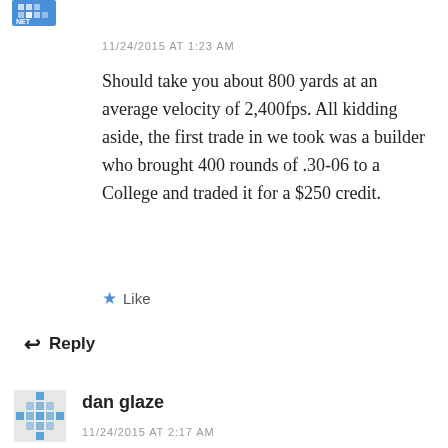[Figure (illustration): Small avatar icon with blue pixel/snowflake pattern for first commenter]
11/24/2015 AT 1:23 AM
Should take you about 800 yards at an average velocity of 2,400fps. All kidding aside, the first trade in we took was a builder who brought 400 rounds of .30-06 to a College and traded it for a $250 credit.
Like
Reply
[Figure (illustration): Small avatar icon with blue pixel/snowflake pattern for dan glaze]
dan glaze
11/24/2015 AT 2:17 AM
that's funny, in my business I have taken 14 guns on trade for my work in the last three years, the latest was a savage mod. 99E 308 Winchester,